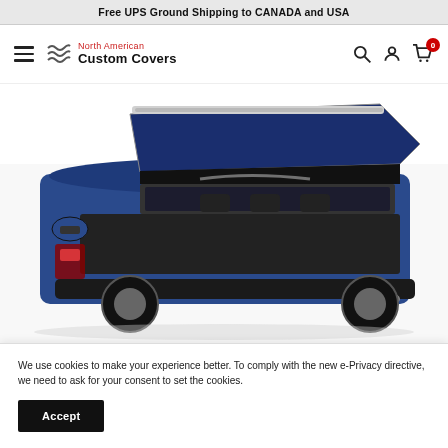Free UPS Ground Shipping to CANADA and USA
[Figure (logo): North American Custom Covers logo with navigation hamburger menu and icons for search, account, and cart (0 items)]
[Figure (photo): Blue SUV/wagon with rear hatch/tailgate open, showing black cargo liner/cover installed in the trunk area]
We use cookies to make your experience better. To comply with the new e-Privacy directive, we need to ask for your consent to set the cookies.
Accept